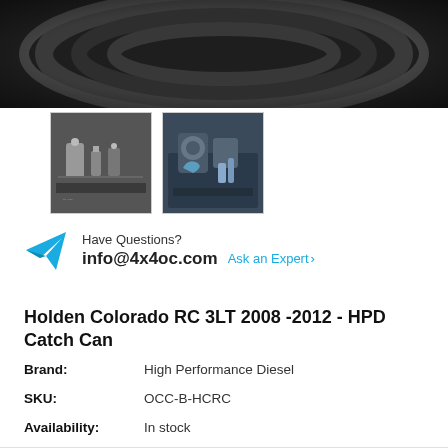[Figure (photo): Close-up of black braided hose/cable coiled, dark background]
[Figure (photo): Thumbnail: catch can components - metal fittings and brackets on dark surface]
[Figure (photo): Thumbnail: engine bay showing installed catch can with blue hoses]
Have Questions?
info@4x4oc.com   Ask an Expert >
Holden Colorado RC 3LT 2008 -2012 - HPD Catch Can
Brand: High Performance Diesel
SKU: OCC-B-HCRC
Availability: In stock